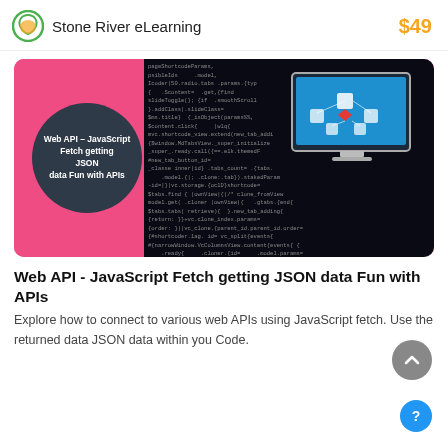Stone River eLearning  $49
[Figure (illustration): Course banner image with pink/magenta gradient background. Left side has a dark circle with white text 'Web API - JavaScript Fetch getting JSON data Fun with APIs'. Right side shows a dark code editor background with colored code text, and a monitor graphic showing a network diagram.]
Web API - JavaScript Fetch getting JSON data Fun with APIs
Explore how to connect to various web APIs using JavaScript fetch. Use the returned data JSON data within you Code.